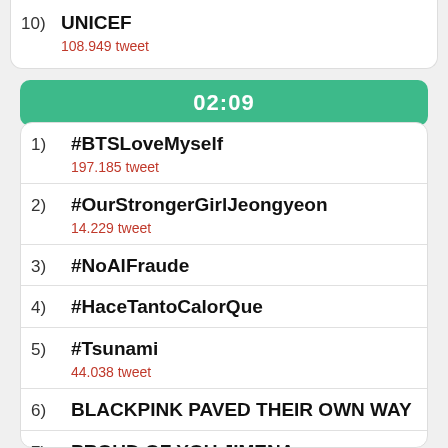10) UNICEF
108.949 tweet
02:09
1) #BTSLoveMyself
197.185 tweet
2) #OurStrongerGirlJeongyeon
14.229 tweet
3) #NoAlFraude
4) #HaceTantoCalorQue
5) #Tsunami
44.038 tweet
6) BLACKPINK PAVED THEIR OWN WAY
7) PROUD OF YOU JIMENA
34.131 tweet